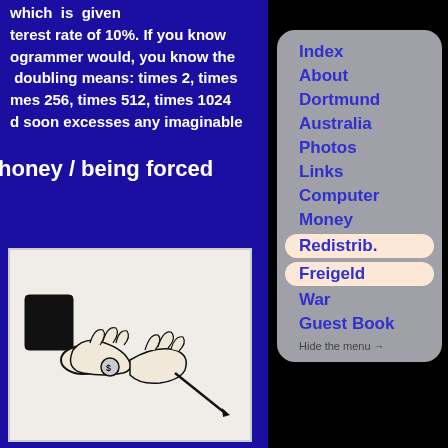which is given interest rate of 10%. If you know programmer would, you know the doubling means: times 2, times times 256, times 512, times 1024 d soon excesses any imaginable
honey / being forced
[Figure (illustration): Line drawing of hands exchanging or handling money/coins]
Index
About
Dortmund
Australia
Photos
Links
Computer
Money
Redistrib.
Freigeld
War
Guest Book
Hide the menu →